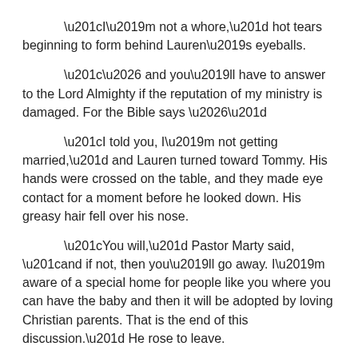“I’m not a whore,” hot tears beginning to form behind Lauren’s eyeballs.
“… and you’ll have to answer to the Lord Almighty if the reputation of my ministry is damaged. For the Bible says …”
“I told you, I’m not getting married,” and Lauren turned toward Tommy. His hands were crossed on the table, and they made eye contact for a moment before he looked down. His greasy hair fell over his nose.
“You will,” Pastor Marty said, “and if not, then you’ll go away. I’m aware of a special home for people like you where you can have the baby and then it will be adopted by loving Christian parents. That is the end of this discussion.” He rose to leave.
That was the first time Lauren realized she was going to be a mother.